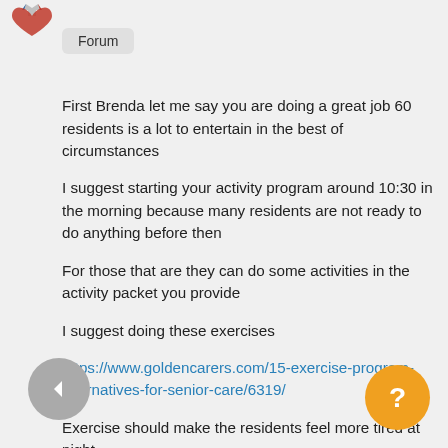[Figure (logo): Heart logo icon in top left corner]
Forum
First Brenda let me say you are doing a great job 60 residents is a lot to entertain in the best of circumstances
I suggest starting your activity program around 10:30 in the morning because many residents are not ready to do anything before then
For those that are they can do some activities in the activity packet you provide
I suggest doing these exercises
https://www.goldencarers.com/15-exercise-program-alternatives-for-senior-care/6319/
Exercise should make the residents feel more tired at night
It is a good idea to talk to the residents who say they are bored and find out what they want to do
Is any of the non-activity staff willing to help you especially after seven at night
Many residents go to bed at that time so for those